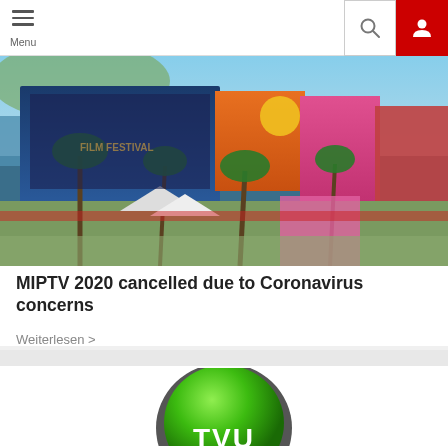Menu
[Figure (photo): Aerial view of Cannes festival area with colorful movie billboards, palm trees, pink carpet, and waterfront buildings]
MIPTV 2020 cancelled due to Coronavirus concerns
Weiterlesen >
[Figure (logo): Green circular TVU logo button on white background]